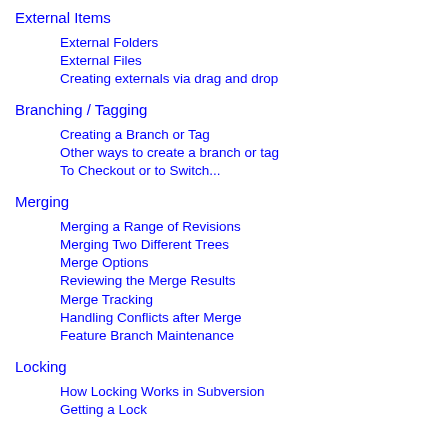External Items
External Folders
External Files
Creating externals via drag and drop
Branching / Tagging
Creating a Branch or Tag
Other ways to create a branch or tag
To Checkout or to Switch...
Merging
Merging a Range of Revisions
Merging Two Different Trees
Merge Options
Reviewing the Merge Results
Merge Tracking
Handling Conflicts after Merge
Feature Branch Maintenance
Locking
How Locking Works in Subversion
Getting a Lock